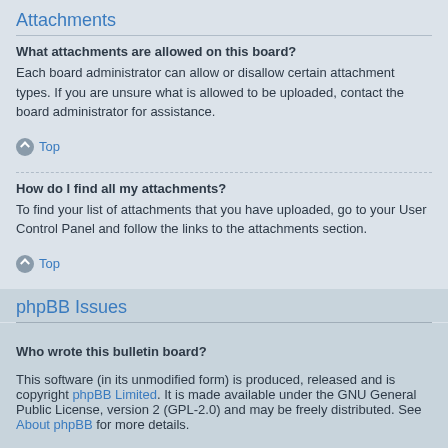Attachments
What attachments are allowed on this board?
Each board administrator can allow or disallow certain attachment types. If you are unsure what is allowed to be uploaded, contact the board administrator for assistance.
Top
How do I find all my attachments?
To find your list of attachments that you have uploaded, go to your User Control Panel and follow the links to the attachments section.
Top
phpBB Issues
Who wrote this bulletin board?
This software (in its unmodified form) is produced, released and is copyright phpBB Limited. It is made available under the GNU General Public License, version 2 (GPL-2.0) and may be freely distributed. See About phpBB for more details.
Top